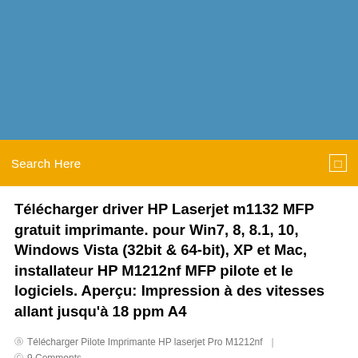[Figure (photo): Blue banner/header image at the top of the webpage]
Search Here
Télécharger driver HP Laserjet m1132 MFP gratuit imprimante. pour Win7, 8, 8.1, 10, Windows Vista (32bit & 64-bit), XP et Mac, installateur HP M1212nf MFP pilote et le logiciels. Aperçu: Impression à des vitesses allant jusqu'à 18 ppm A4
Télécharger Pilote Imprimante HP laserjet Pro M1212nf  |  9 Comments